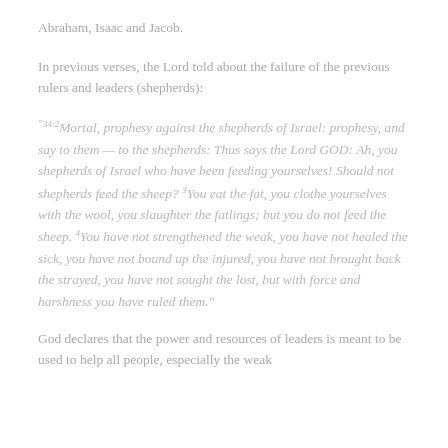Abraham, Isaac and Jacob.
In previous verses, the Lord told about the failure of the previous rulers and leaders (shepherds):
“34:2Mortal, prophesy against the shepherds of Israel: prophesy, and say to them — to the shepherds: Thus says the Lord GOD: Ah, you shepherds of Israel who have been feeding yourselves! Should not shepherds feed the sheep? 3You eat the fat, you clothe yourselves with the wool, you slaughter the fatlings; but you do not feed the sheep. 4You have not strengthened the weak, you have not healed the sick, you have not bound up the injured, you have not brought back the strayed, you have not sought the lost, but with force and harshness you have ruled them.”
God declares that the power and resources of leaders is meant to be used to help all people, especially the weak